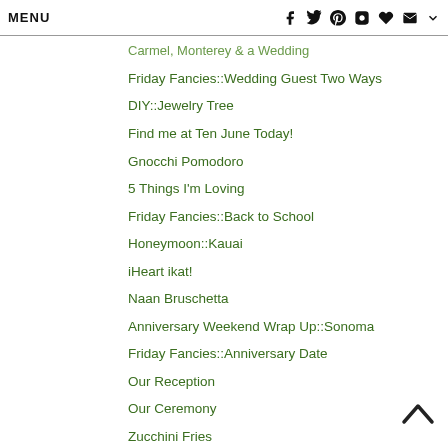MENU
Carmel, Monterey & a Wedding
Friday Fancies::Wedding Guest Two Ways
DIY::Jewelry Tree
Find me at Ten June Today!
Gnocchi Pomodoro
5 Things I'm Loving
Friday Fancies::Back to School
Honeymoon::Kauai
iHeart ikat!
Naan Bruschetta
Anniversary Weekend Wrap Up::Sonoma
Friday Fancies::Anniversary Date
Our Reception
Our Ceremony
Zucchini Fries
Palm Springs Wrap Up
Friday Fancies::Palm Springs Weekend
Wedding Portaits